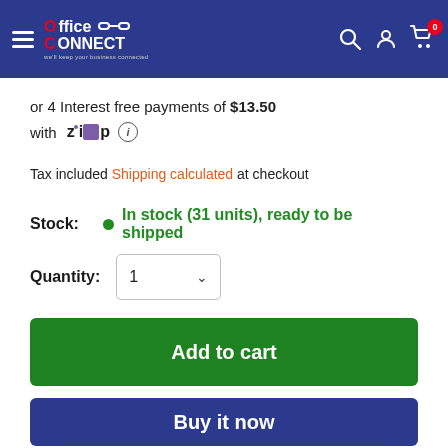[Figure (logo): Office Connect logo with hamburger menu, search, account, and cart icons on dark blue header bar]
or 4 Interest free payments of $13.50 with Zip (info icon)
Tax included Shipping calculated at checkout
Stock: In stock (31 units), ready to be shipped
Quantity: 1
Add to cart
Buy it now